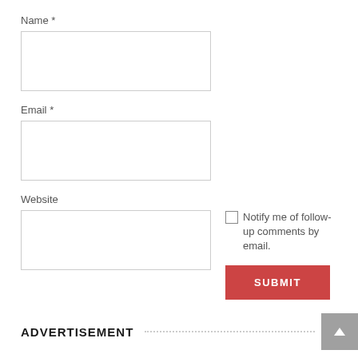Name *
[Figure (other): Empty text input box for Name field]
Email *
[Figure (other): Empty text input box for Email field]
Website
[Figure (other): Empty text input box for Website field alongside checkbox 'Notify me of follow-up comments by email.' and SUBMIT button]
ADVERTISEMENT